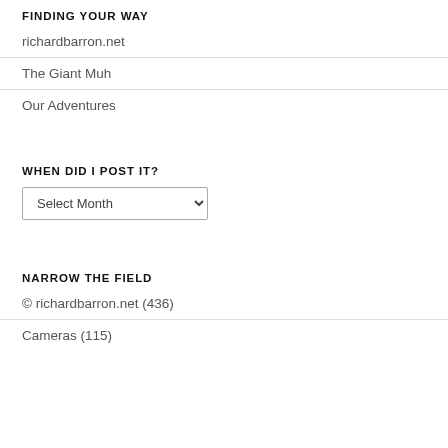FINDING YOUR WAY
richardbarron.net
The Giant Muh
Our Adventures
WHEN DID I POST IT?
Select Month (dropdown)
NARROW THE FIELD
© richardbarron.net (436)
Cameras (115)